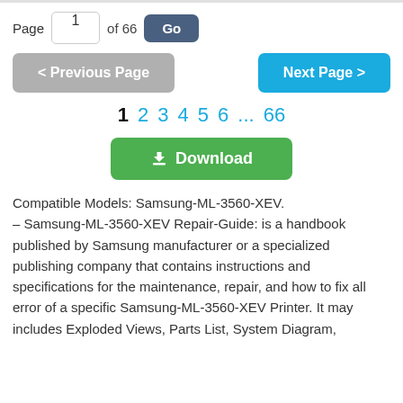Page 1 of 66  Go
< Previous Page   Next Page >
1  2  3  4  5  6  ...  66
Download
Compatible Models: Samsung-ML-3560-XEV.
– Samsung-ML-3560-XEV Repair-Guide: is a handbook published by Samsung manufacturer or a specialized publishing company that contains instructions and specifications for the maintenance, repair, and how to fix all error of a specific Samsung-ML-3560-XEV Printer. It may includes Exploded Views, Parts List, System Diagram,